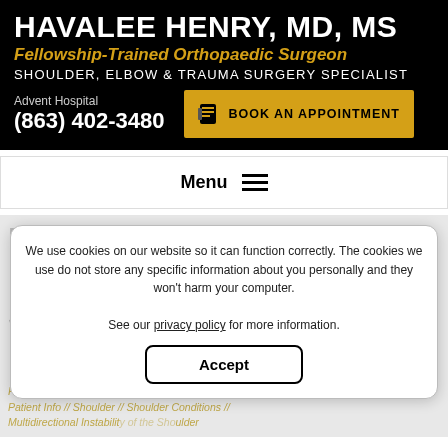HAVALEE HENRY, MD, MS
Fellowship-Trained Orthopaedic Surgeon
SHOULDER, ELBOW & TRAUMA SURGERY SPECIALIST
Advent Hospital
(863) 402-3480
BOOK AN APPOINTMENT
Menu
MULTIDIRECTIONAL INSTABILITY OF THE SHOULDER
We use cookies on our website so it can function correctly. The cookies we use do not store any specific information about you personally and they won't harm your computer.

See our privacy policy for more information.
Accept
Havalee Henry // Sebring, FL // Patient Info // Shoulder // Shoulder Conditions // Multidirectional Instability of the Shoulder